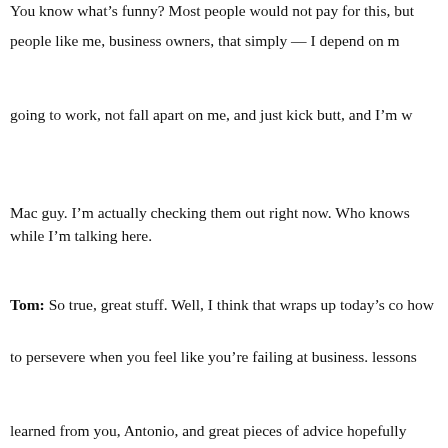You know what's funny? Most people would not pay for this, but people like me, business owners, that simply — I depend on my Mac going to work, not fall apart on me, and just kick butt, and I'm a Mac guy. I'm actually checking them out right now. Who knows while I'm talking here.
Tom: So true, great stuff. Well, I think that wraps up today's conversation on how to persevere when you feel like you're failing at business. Some great lessons learned from you, Antonio, and great pieces of advice that can be hopefully applied immediately to their own situation.
Other than that, for everybody listening, I hope you enjoyed today. Go to highspeedlowdrag.org, check us out, and leave a review on iTunes for this episode. We're really trying to promote and push this and get it out there. if you enjoyed it, I'm sure somebody else would, so please share it and thanks so much for joining us today and we'll catch you next w...
Veterans, your education doesn't stop here. Go to highspeede... veterans' mastermind that will give you the unfair advantage to life. We have dozens of training courses, HD videos, a private chance to interact daily with John and other successful veterans...